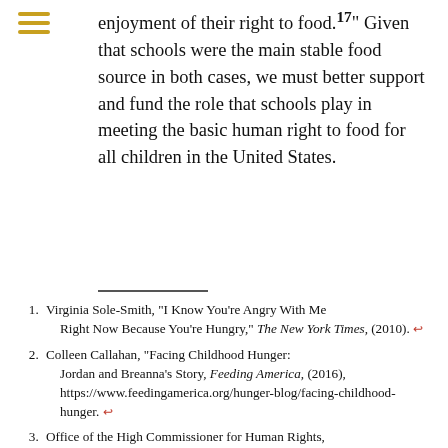enjoyment of their right to food.17" Given that schools were the main stable food source in both cases, we must better support and fund the role that schools play in meeting the basic human right to food for all children in the United States.
1. Virginia Sole-Smith, "I Know You're Angry With Me Right Now Because You're Hungry," The New York Times, (2010). ↩
2. Colleen Callahan, "Facing Childhood Hunger: Jordan and Breanna's Story, Feeding America, (2016), https://www.feedingamerica.org/hunger-blog/facing-childhood-hunger. ↩
3. Office of the High Commissioner for Human Rights, "The Right to Adequate Food," United Nations Human Rights, no.34 (2010): 2. ↩
4. Amelie A. Hecht, Keshia M. Pollack Porter, and Lindsey Turner, "Impact of the Community Eligibility Provision of the Healthy, Hunger-Free Act Student Nutrition, Behaviors, and Academic...